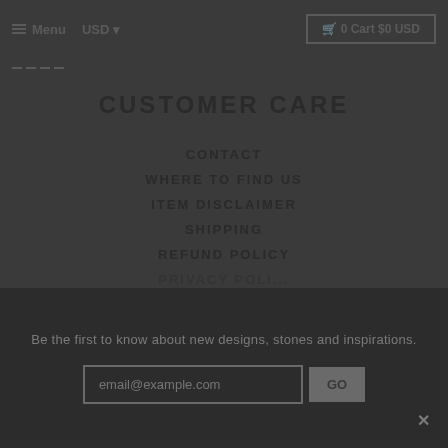Menu  USD  0 Cart $0 USD
[Figure (other): Four small horizontal dashes forming a logo or decorative element]
CUSTOMER CARE
CONTACT
WHERE TO FIND US
ITEM DISCLAIMER
SHIPPING
REFUND POLICY
Be the first to know about new designs, stones and inspirations  email@example.com  GO